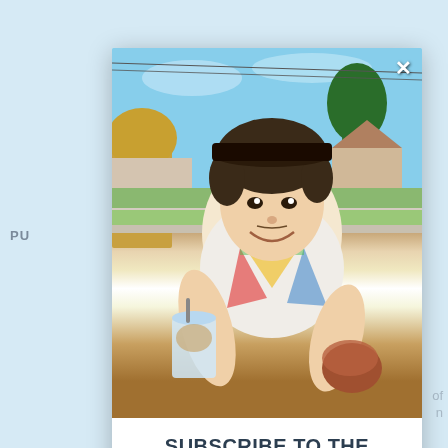[Figure (photo): Young man smiling outdoors on a sunny day, wearing a white t-shirt with a colorful design, holding a drink cup. Background shows a residential street with trees and blue sky.]
SUBSCRIBE TO THE TRIBE THAT SAVES LIVES
Blog updates in your inbox weekly. Click here to buy the book, Diary of a Broken Mind.
Enter your name here...
Enter your email here...